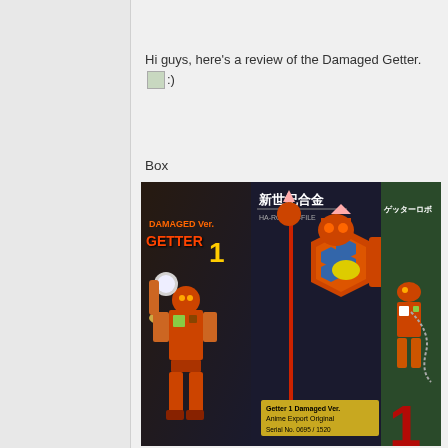Hi guys, here's a review of the Damaged Getter. :)
Box
[Figure (photo): Photo of the Damaged Ver. Getter 1 toy box. The box shows 'DAMAGED Ver. GETTER 1' text on the left side panel in orange/red with a robot figure. The front panel shows a large orange robot with Japanese text '新世紀合金' at the top. A sticker at the bottom reads 'Getter 1 Damaged Ver. Anime Export Original / Serial No. 0695 / 1520'.]